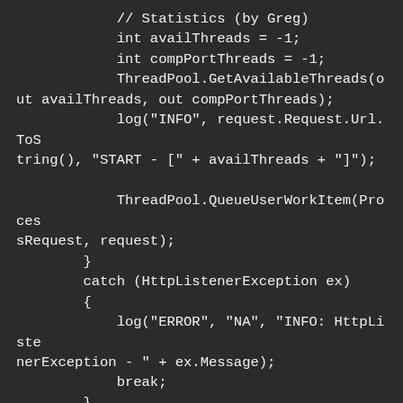// Statistics (by Greg)
            int availThreads = -1;
            int compPortThreads = -1;
            ThreadPool.GetAvailableThreads(out availThreads, out compPortThreads);
            log("INFO", request.Request.Url.ToString(), "START - [" + availThreads + "]");

            ThreadPool.QueueUserWorkItem(ProcessRequest, request);
        }
        catch (HttpListenerException ex)
        {
            log("ERROR", "NA", "INFO: HttpListenerException - " + ex.Message);
            break;
        }
        catch (InvalidOperationException ex)
        {
            log("ERROR", "NA", "INFO: InvalidOperationException - " + ex.Message);